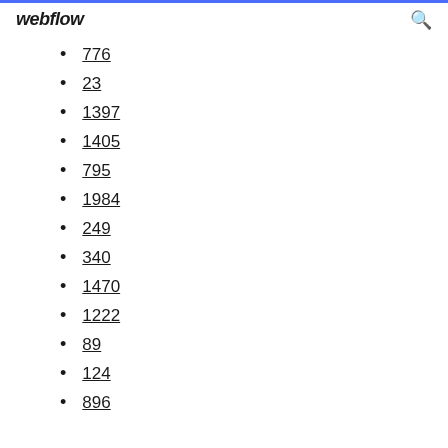webflow
776
23
1397
1405
795
1984
249
340
1470
1222
89
124
896